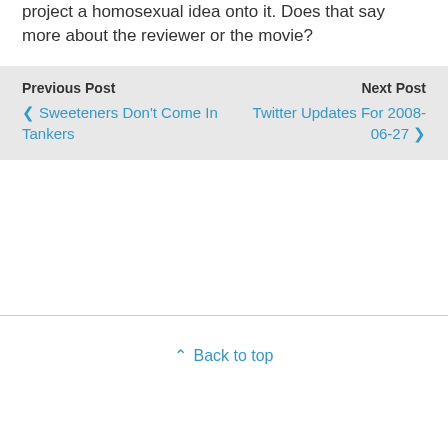project a homosexual idea onto it. Does that say more about the reviewer or the movie?
Previous Post
‹ Sweeteners Don't Come In Tankers

Next Post
Twitter Updates For 2008-06-27 ›
⌃ Back to top